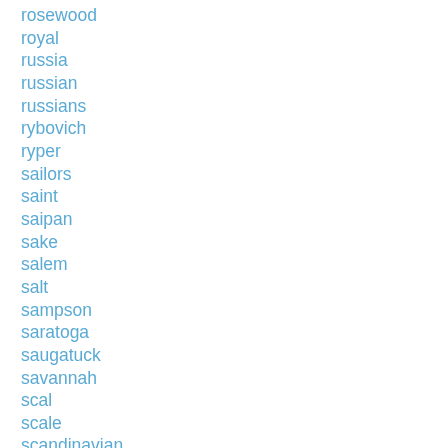rosewood
royal
russia
russian
russians
rybovich
ryper
sailors
saint
saipan
sake
salem
salt
sampson
saratoga
saugatuck
savannah
scal
scale
scandinavian
scarce
scariest